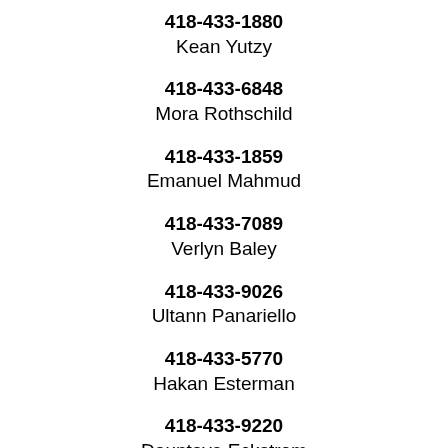418-433-1880
Kean Yutzy
418-433-6848
Mora Rothschild
418-433-1859
Emanuel Mahmud
418-433-7089
Verlyn Baley
418-433-9026
Ultann Panariello
418-433-5770
Hakan Esterman
418-433-9220
Dauntaye Eckstrom
418-433-7906
Fayana Floro
418-433-7179